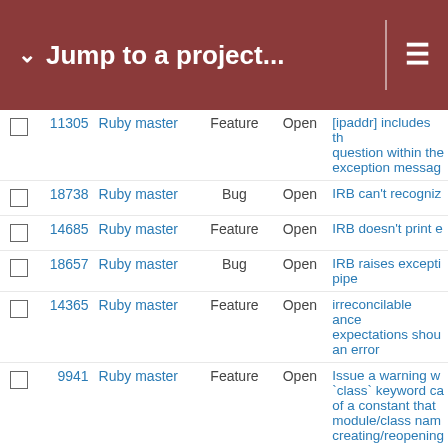Jump to a project...
|  | # | Project | Type | Status | Subject |
| --- | --- | --- | --- | --- | --- |
|  | 11305 | Ruby master | Feature | Open | [ipaddr] Include the question within the exception message |
|  | 18738 | Ruby master | Bug | Open | IRB can't recognize... |
|  | 14685 | Ruby master | Feature | Open | IRB doesn't print e... |
|  | 18657 | Ruby master | Bug | Open | IRB raises exception pipe |
|  | 14365 | Ruby master | Feature | Open | irreconcilable ancestral expectations should be an error |
|  | 9941 | Ruby master | Feature | Open | Issue a warning when `class` keyword causes of a constant that module/class name creating/reopening |
|  | 11309 | Ruby master | Feature | Open | Iterator over string... |
|  | 17817 | Ruby master | Bug | Open | --jit outputs ./tmp/_ such file or directory |
|  | 14925 | Ruby master | Feature | Open | Kernel#assert(exp... |
|  | 13259 | Ruby master | Feature | Open | Kernel#Date |
|  | 16952 | Ruby master | Feature | Open | Kernel.exec gives message when pa... |